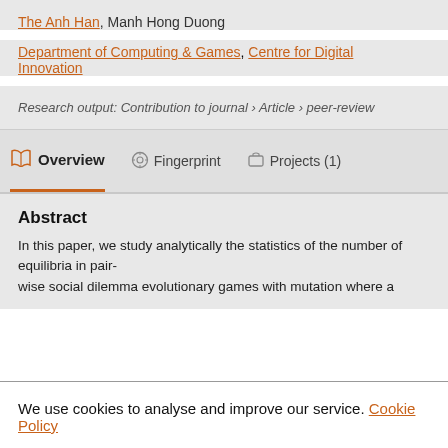The Anh Han, Manh Hong Duong
Department of Computing & Games, Centre for Digital Innovation
Research output: Contribution to journal › Article › peer-review
Overview | Fingerprint | Projects (1)
Abstract
In this paper, we study analytically the statistics of the number of equilibria in pair-
wise social dilemma evolutionary games with mutation where a
We use cookies to analyse and improve our service. Cookie Policy